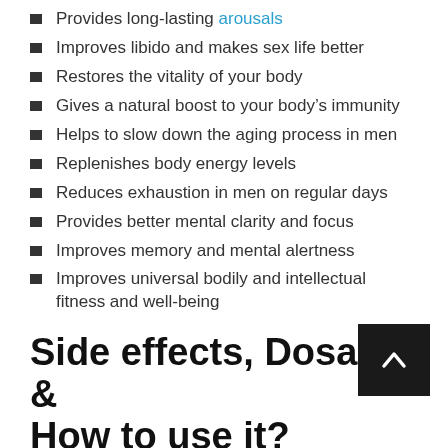Provides long-lasting arousals
Improves libido and makes sex life better
Restores the vitality of your body
Gives a natural boost to your body's immunity
Helps to slow down the aging process in men
Replenishes body energy levels
Reduces exhaustion in men on regular days
Provides better mental clarity and focus
Improves memory and mental alertness
Improves universal bodily and intellectual fitness and well-being
Side effects, Dosage & How to use it?
As per Provacyl reviews, Provacyl tablets want to be taken